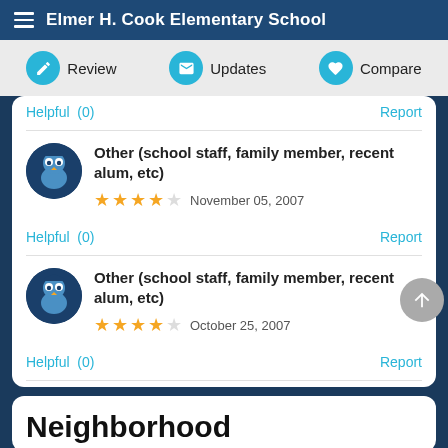Elmer H. Cook Elementary School
Review  Updates  Compare
Helpful  (0)  Report
Other (school staff, family member, recent alum, etc)  November 05, 2007  Helpful  (0)  Report
Other (school staff, family member, recent alum, etc)  October 25, 2007  Helpful  (0)  Report
Neighborhood